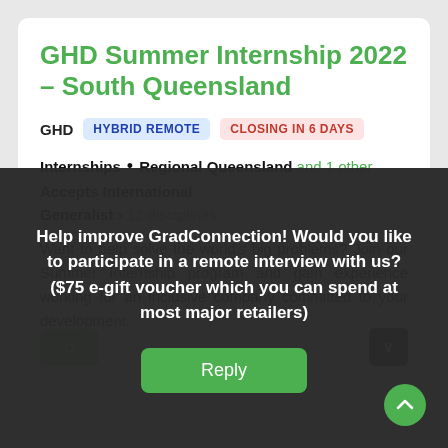GHD Summer Internship 2022 - South Queensland
GHD  HYBRID REMOTE  CLOSING IN 6 DAYS
Internships • Regional Queensland and 1 other
Accepts International
Generalist › 12 disciplines
Want to help solve the world's big problems? Join our Summer Internship program and gain experience working for an inclusive company committed to your development.
Help improve GradConnection! Would you like to participate in a remote interview with us? ($75 e-gift voucher which you can spend at most major retailers)
Reply